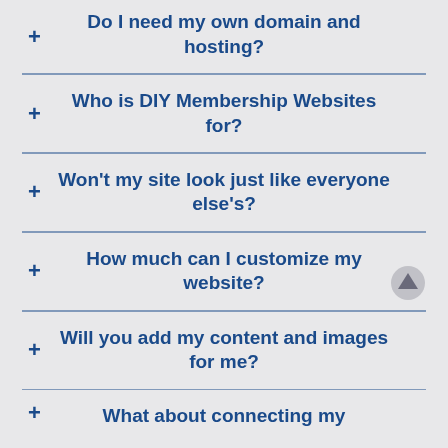+ Do I need my own domain and hosting?
+ Who is DIY Membership Websites for?
+ Won't my site look just like everyone else's?
+ How much can I customize my website?
+ Will you add my content and images for me?
+ What about connecting my